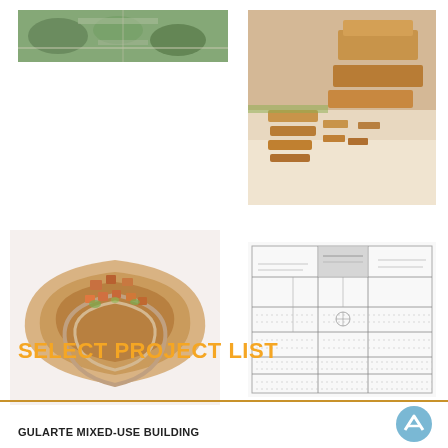[Figure (photo): Aerial top-down view of a green outdoor site with trees and structures]
[Figure (photo): Physical architectural scale model made of wood blocks showing a mixed-use building complex]
[Figure (photo): 3D architectural model of a fan-shaped terraced urban development with brown and green tones]
[Figure (engineering-diagram): Architectural floor plan drawing of Gularte Mixed-Use Building with room layouts and annotations]
SELECT PROJECT LIST
GULARTE MIXED-USE BUILDING